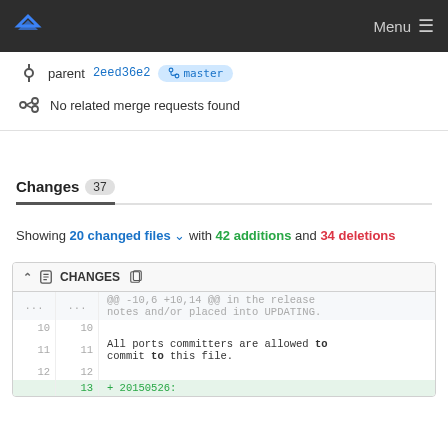Menu
parent 2eed36e2 master
No related merge requests found
Changes 37
Showing 20 changed files with 42 additions and 34 deletions
CHANGES
| old | new | content |
| --- | --- | --- |
| ... | ... | @@ -10,6 +10,14 @@ in the release notes and/or placed into UPDATING. |
| 10 | 10 |  |
| 11 | 11 | All ports committers are allowed to commit to this file. |
| 12 | 12 |  |
|  | 13 | + 20150526: |